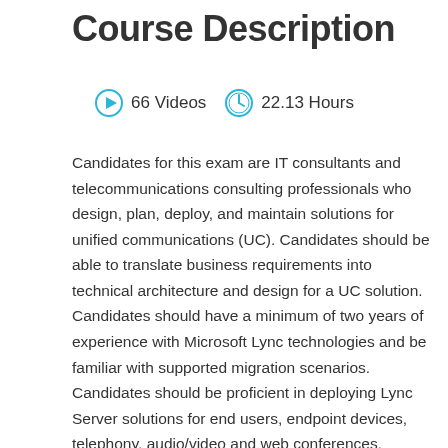Course Description
[Figure (infographic): Meta bar showing 66 Videos with a play button icon and 22.13 Hours with a clock icon]
Candidates for this exam are IT consultants and telecommunications consulting professionals who design, plan, deploy, and maintain solutions for unified communications (UC). Candidates should be able to translate business requirements into technical architecture and design for a UC solution. Candidates should have a minimum of two years of experience with Microsoft Lync technologies and be familiar with supported migration scenarios. Candidates should be proficient in deploying Lync Server solutions for end users, endpoint devices, telephony, audio/video and web conferences, security, and high availability. Candidates should also know how to monitor and troubleshoot Lync Server using Microsoft tools. The minimally qualified candidate typically should have experience making decisions concerning the design, implementation, and maintenance of the following: central and branch office sites,